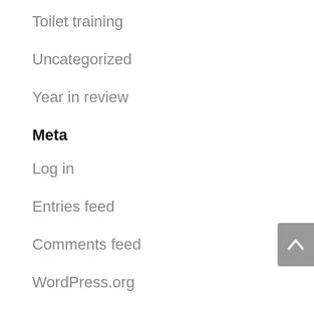Toilet training
Uncategorized
Year in review
Meta
Log in
Entries feed
Comments feed
WordPress.org
Networks
[Figure (illustration): Colorful overlapping circles with text 'proud member of the' — a network membership badge graphic]